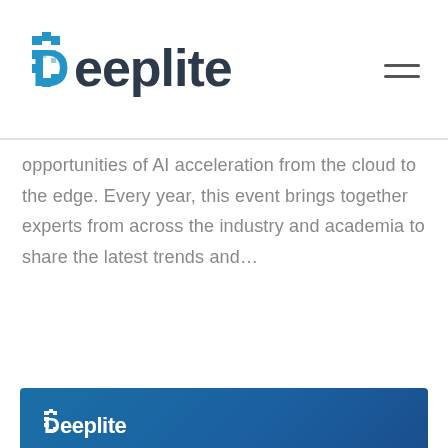Deeplite
opportunities of AI acceleration from the cloud to the edge. Every year, this event brings together experts from across the industry and academia to share the latest trends and…
More...
[Figure (illustration): Deeplite branded banner with dark blue background. Title reads 'SECURITY, DATA AND MORE' in large bold white uppercase letters. Subtitle text: 'ISC WEST AND TINYML SUMMIT RECAP'. A 'READ BLOG' button with white border is shown below.]